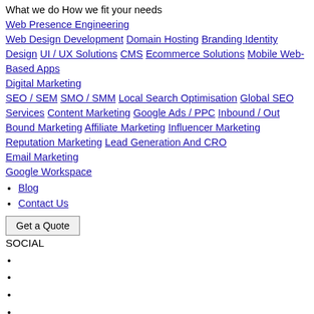What we do How we fit your needs
Web Presence Engineering Web Design Development Domain Hosting Branding Identity Design UI / UX Solutions CMS Ecommerce Solutions Mobile Web-Based Apps Digital Marketing SEO / SEM SMO / SMM Local Search Optimisation Global SEO Services Content Marketing Google Ads / PPC Inbound / Out Bound Marketing Affiliate Marketing Influencer Marketing Reputation Marketing Lead Generation And CRO Email Marketing Google Workspace
Blog
Contact Us
Get a Quote
SOCIAL